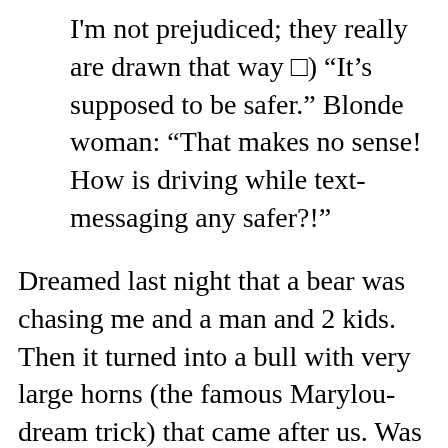I'm not prejudiced; they really are drawn that way □) “It's supposed to be safer.” Blonde woman: “That makes no sense! How is driving while text-messaging any safer?!”
Dreamed last night that a bear was chasing me and a man and 2 kids. Then it turned into a bull with very large horns (the famous Marylou-dream trick) that came after us. Was it because I noticed the Dow-Jones closed above 13,000 yesterday (the whole bear-bull market thing)?? No, probably not □ There's just